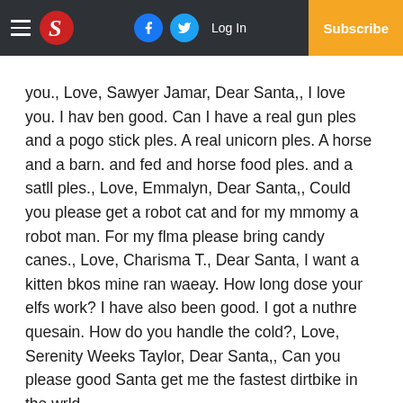Navigation bar with hamburger menu, S logo, Facebook icon, Twitter icon, Log In, Subscribe
you., Love, Sawyer Jamar, Dear Santa,, I love you. I hav ben good. Can I have a real gun ples and a pogo stick ples. A real unicorn ples. A horse and a barn. and fed and horse food ples. and a satll ples., Love, Emmalyn, Dear Santa,, Could you please get a robot cat and for my mmomy a robot man. For my flma please bring candy canes., Love, Charisma T., Dear Santa, I want a kitten bkos mine ran waeay. How long dose your elfs work? I have also been good. I got a nuthre quesain. How do you handle the cold?, Love, Serenity Weeks Taylor, Dear Santa,, Can you please good Santa get me the fastest dirtbike in the wrld